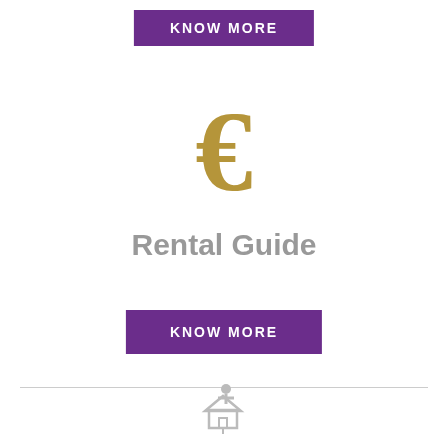KNOW MORE
[Figure (illustration): Gold euro sign icon]
Rental Guide
KNOW MORE
[Figure (logo): Gray house/person icon logo at page footer]